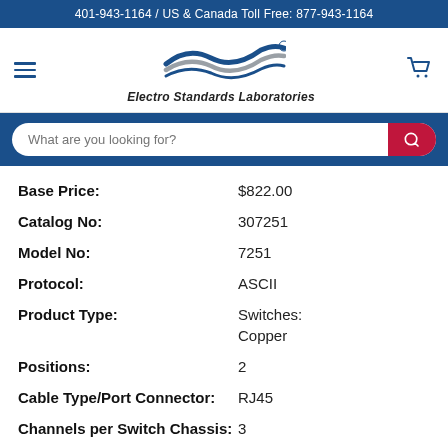401-943-1164 / US & Canada Toll Free: 877-943-1164
[Figure (logo): Electro Standards Laboratories logo with wave/swoosh graphic and brand name in italic bold]
What are you looking for?
Base Price: $822.00
Catalog No: 307251
Model No: 7251
Protocol: ASCII
Product Type: Switches: Copper
Positions: 2
Cable Type/Port Connector: RJ45
Channels per Switch Chassis: 3